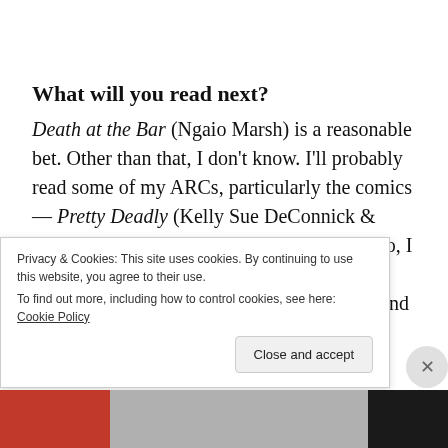What will you read next?
Death at the Bar (Ngaio Marsh) is a reasonable bet. Other than that, I don't know. I'll probably read some of my ARCs, particularly the comics — Pretty Deadly (Kelly Sue DeConnick & Emma Rios) and Noir (Victor Gischler). Also, I have a handful of pages left of Seven Forges (James A. Moore), which I enjoyed greatly and yet
Privacy & Cookies: This site uses cookies. By continuing to use this website, you agree to their use.
To find out more, including how to control cookies, see here: Cookie Policy
Close and accept